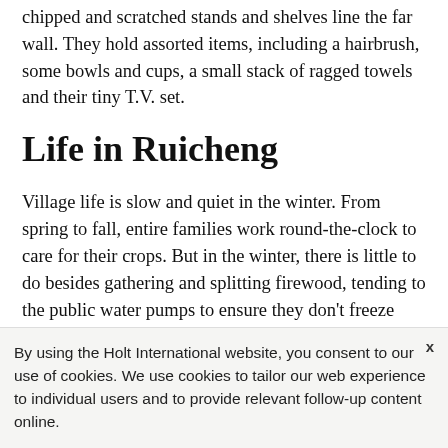chipped and scratched stands and shelves line the far wall. They hold assorted items, including a hairbrush, some bowls and cups, a small stack of ragged towels and their tiny T.V. set.
Life in Ruicheng
Village life is slow and quiet in the winter. From spring to fall, entire families work round-the-clock to care for their crops. But in the winter, there is little to do besides gathering and splitting firewood, tending to the public water pumps to ensure they don't freeze
By using the Holt International website, you consent to our use of cookies. We use cookies to tailor our web experience to individual users and to provide relevant follow-up content online.